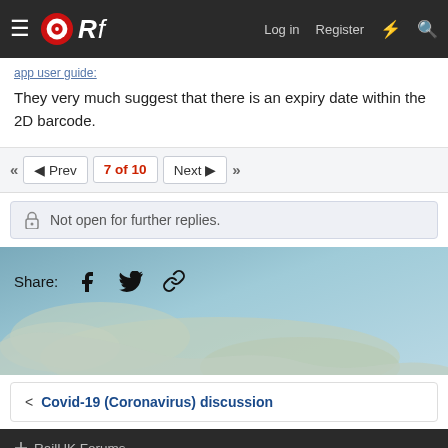ORf — Log in  Register
They very much suggest that there is an expiry date within the 2D barcode.
◄ Prev   7 of 10   Next ►
Not open for further replies.
Share:
[Figure (map): Background map showing coastal/geographic area in blue-grey tones]
Covid-19 (Coronavirus) discussion
RailUK Forums
Contact us  Terms and rules  Privacy policy  Help  Home
Community platform by XenForo® © 2010-2021 XenForo Ltd.